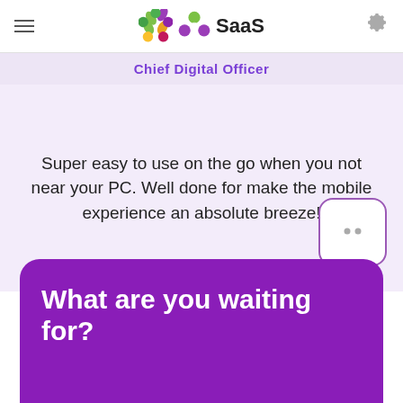SaaS
Chief Digital Officer
Super easy to use on the go when you not near your PC. Well done for make the mobile experience an absolute breeze!
What are you waiting for?